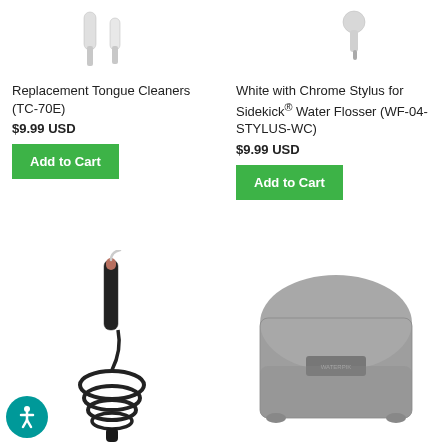[Figure (photo): Replacement tongue cleaner tips, two metallic cylindrical pieces]
Replacement Tongue Cleaners (TC-70E)
$9.99 USD
Add to Cart
[Figure (photo): White with chrome stylus tip for Sidekick Water Flosser]
White with Chrome Stylus for Sidekick® Water Flosser (WF-04-STYLUS-WC)
$9.99 USD
Add to Cart
[Figure (photo): Black dental pick tool with coiled cord]
[Figure (photo): Gray fabric travel/storage bag with logo patch]